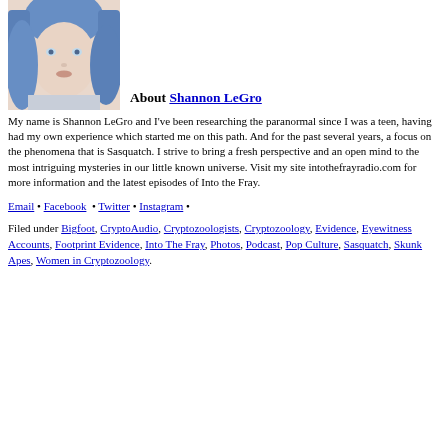[Figure (photo): Profile photo of Shannon LeGro, a woman with blue hair]
About Shannon LeGro
My name is Shannon LeGro and I've been researching the paranormal since I was a teen, having had my own experience which started me on this path. And for the past several years, a focus on the phenomena that is Sasquatch. I strive to bring a fresh perspective and an open mind to the most intriguing mysteries in our little known universe. Visit my site intothefrayradio.com for more information and the latest episodes of Into the Fray.
Email • Facebook • Twitter • Instagram •
Filed under Bigfoot, CryptoAudio, Cryptozoologists, Cryptozoology, Evidence, Eyewitness Accounts, Footprint Evidence, Into The Fray, Photos, Podcast, Pop Culture, Sasquatch, Skunk Apes, Women in Cryptozoology.